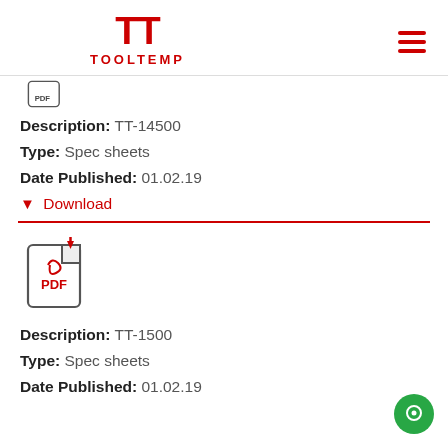[Figure (logo): Tooltemp logo with TT mark in red and hamburger menu icon]
[Figure (illustration): Small PDF file icon (partially cropped)]
Description: TT-14500
Type: Spec sheets
Date Published: 01.02.19
▼ Download
[Figure (illustration): PDF file icon with red download arrow]
Description: TT-1500
Type: Spec sheets
Date Published: 01.02.19